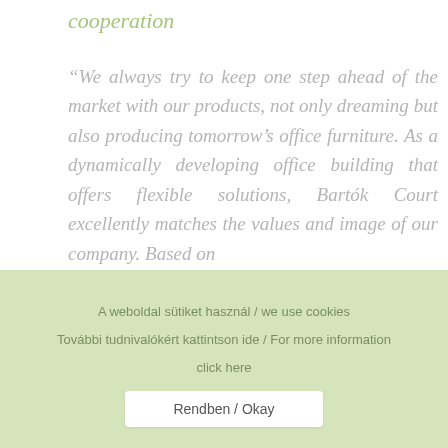cooperation
“We always try to keep one step ahead of the market with our products, not only dreaming but also producing tomorrow’s office furniture. As a dynamically developing office building that offers flexible solutions, Bartók Court excellently matches the values and image of our company. Based on
A weboldal sütiket használ / we use cookies
További tudnivalókért kattintson ide / For more information click here
Rendben / Okay